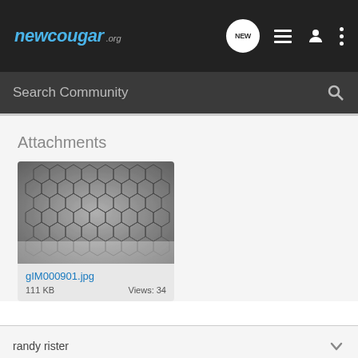newcougar .org
Search Community
Attachments
[Figure (photo): Thumbnail image of a metallic honeycomb mesh structure, file named gIM000901.jpg]
gIM000901.jpg
111 KB   Views: 34
randy rister